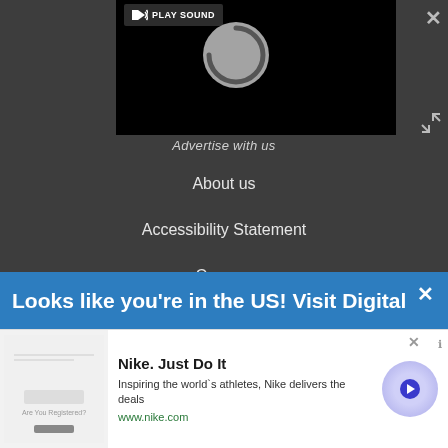[Figure (screenshot): Dark-themed website footer overlay with video player showing a spinning loading circle and PLAY SOUND button, navigation links (Advertise with us, About us, Accessibility Statement, Careers, Do not sell my info), a blue banner at the bottom reading 'Looks like you're in the US! Visit Digital', and a Nike advertisement bar at the very bottom.]
PLAY SOUND
Advertise with us
About us
Accessibility Statement
Careers
Do not sell my info
Looks like you're in the US! Visit Digital
Nike. Just Do It
Inspiring the world`s athletes, Nike delivers the deals
www.nike.com